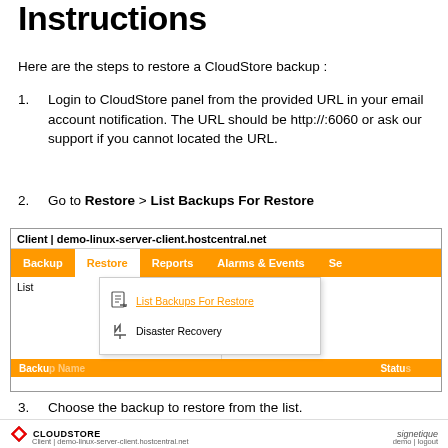Instructions
Here are the steps to restore a CloudStore backup :
1. Login to CloudStore panel from the provided URL in your email account notification. The URL should be http://:6060 or ask our support if you cannot located the URL.
2. Go to Restore > List Backups For Restore
[Figure (screenshot): Screenshot of CloudStore web interface showing navigation bar with Backup, Restore (active/selected), Reports, Alarms & Events, Se... tabs, and a dropdown menu under Restore showing 'List Backups For Restore' (with icon, orange link) and 'Disaster Recovery' (with icon). The header shows 'Client | demo-linux-server-client.hostcentral.net'. An orange footer bar is partially visible at bottom with 'Backup Name' and 'Status' columns.]
3. Choose the backup to restore from the list.
CLOUDSTORE  signetique